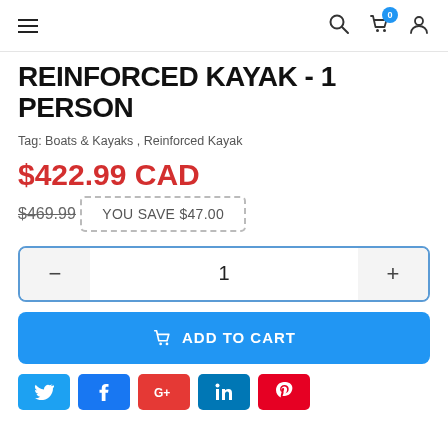Navigation bar with hamburger menu, search icon, cart (0 items), and user icon
REINFORCED KAYAK - 1 PERSON
Tag: Boats & Kayaks , Reinforced Kayak
$422.99 CAD
$469.99
YOU SAVE $47.00
Quantity: 1
ADD TO CART
Social share buttons: Twitter, Facebook, Google+, LinkedIn, Pinterest